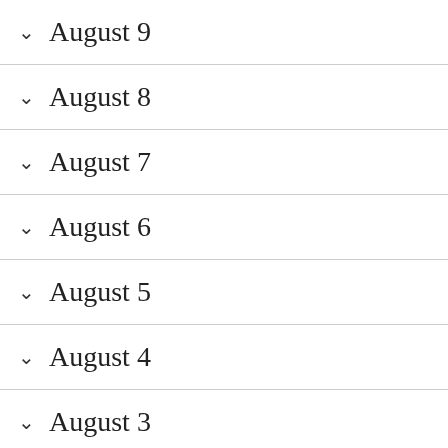August 9
August 8
August 7
August 6
August 5
August 4
August 3